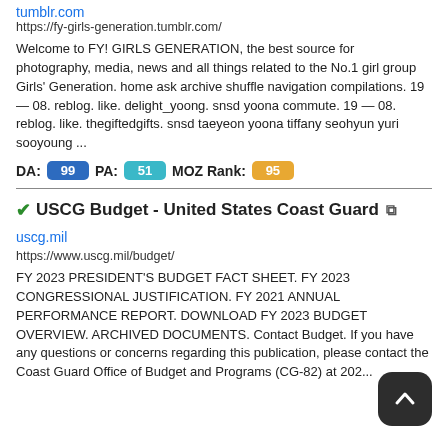tumblr.com
https://fy-girls-generation.tumblr.com/
Welcome to FY! GIRLS GENERATION, the best source for photography, media, news and all things related to the No.1 girl group Girls' Generation. home ask archive shuffle navigation compilations. 19 — 08. reblog. like. delight_yoong. snsd yoona commute. 19 — 08. reblog. like. thegiftedgifts. snsd taeyeon yoona tiffany seohyun yuri sooyoung ...
DA: 99  PA: 51  MOZ Rank: 95
USCG Budget - United States Coast Guard
uscg.mil
https://www.uscg.mil/budget/
FY 2023 PRESIDENT'S BUDGET FACT SHEET. FY 2023 CONGRESSIONAL JUSTIFICATION. FY 2021 ANNUAL PERFORMANCE REPORT. DOWNLOAD FY 2023 BUDGET OVERVIEW. ARCHIVED DOCUMENTS. Contact Budget. If you have any questions or concerns regarding this publication, please contact the Coast Guard Office of Budget and Programs (CG-82) at 202...